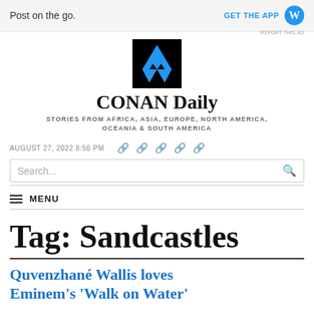[Figure (screenshot): Advertisement banner with 'Post on the go.' text and GET THE APP button with WordPress logo]
[Figure (logo): CONAN Daily logo: black square with blue and dark triangles forming a Triforce-like pattern]
CONAN Daily
STORIES FROM AFRICA, ASIA, EUROPE, NORTH AMERICA, OCEANIA & SOUTH AMERICA
AUGUST 27, 2022 8:56 PM
Search...
MENU
Tag: Sandcastles
Quvenzhané Wallis loves Eminem's 'Walk on Water'